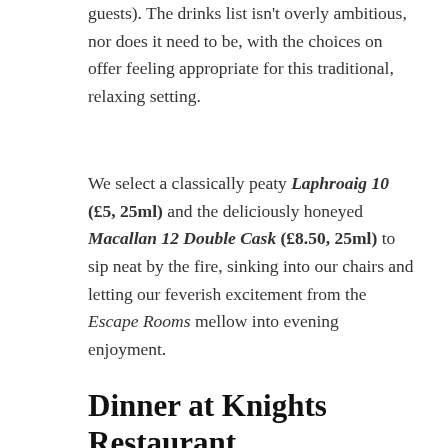guests). The drinks list isn't overly ambitious, nor does it need to be, with the choices on offer feeling appropriate for this traditional, relaxing setting.
We select a classically peaty Laphroaig 10 (£5, 25ml) and the deliciously honeyed Macallan 12 Double Cask (£8.50, 25ml) to sip neat by the fire, sinking into our chairs and letting our feverish excitement from the Escape Rooms mellow into evening enjoyment.
Dinner at Knights Restaurant
[Figure (photo): Two side-by-side restaurant photos: left shows white table linen/napkins in a warmly lit dining room; right shows a warmly lit arched interior with wall sconce lighting]